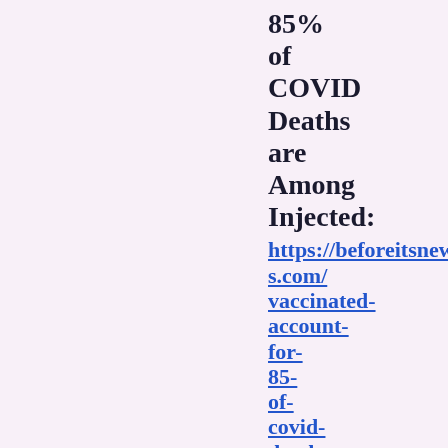85% of COVID Deaths are Among Injected: https://beforeitsnews.com/vaccinated-account-for-85-of-covid-deaths-3043220.html
- PhD Chemist